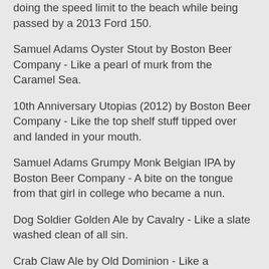doing the speed limit to the beach while being passed by a 2013 Ford 150.
Samuel Adams Oyster Stout by Boston Beer Company - Like a pearl of murk from the Caramel Sea.
10th Anniversary Utopias (2012) by Boston Beer Company - Like the top shelf stuff tipped over and landed in your mouth.
Samuel Adams Grumpy Monk Belgian IPA by Boston Beer Company - A bite on the tongue from that girl in college who became a nun.
Dog Soldier Golden Ale by Cavalry - Like a slate washed clean of all sin.
Crab Claw Ale by Old Dominion - Like a